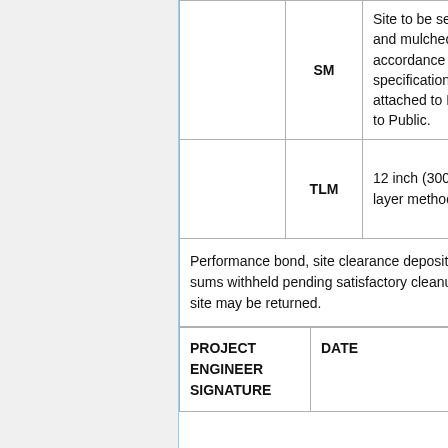|  | Code | Description |
| --- | --- | --- |
|  | SM | Site to be seeded and mulched in accordance with specifications attached to Notice to Public. |
|  | TLM | 12 inch (300 mm) layer method. |
Performance bond, site clearance deposit or sums withheld pending satisfactory cleanup of site may be returned.
| PROJECT ENGINEER SIGNATURE | DATE |
| --- | --- |